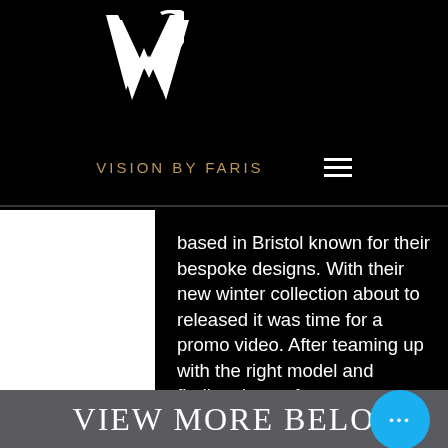[Figure (logo): Vision by Faris logo - stylized VF monogram in white on black background]
VISION BY FARIS
based in Bristol known for their bespoke designs. With their new winter collection about to released it was time for a promo video. After teaming up with the right model and finding the perfect property to film in. VBF created the perfect flow for the video edit and motion tracked text to highlight key points. The video received thousands of views.
VIEW MORE BELO...